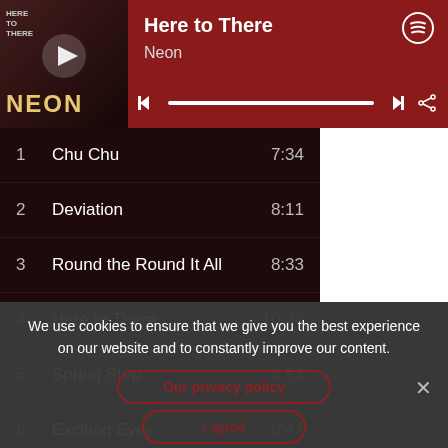[Figure (screenshot): Spotify-style music player showing album 'Here to There' by Neon with tracklist and cookie consent overlay]
Here to There
Neon
1  Chu Chu  7:34
2  Deviation  8:11
3  Round the Round It All  8:33
4  Here to There  10:26
5  Spring Step  8:52
6  Exciting Eyes  8:47
7  Say No  6:49
We use cookies to ensure that we give you the best experience on our website and to constantly improve our content.
Our privacy policy
I agree